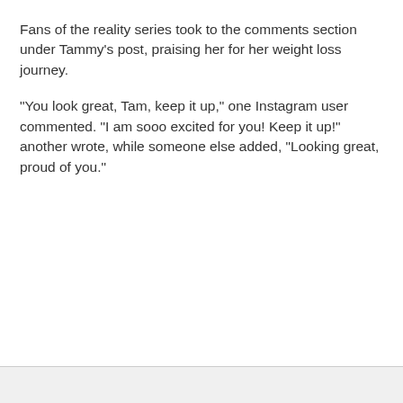Fans of the reality series took to the comments section under Tammy's post, praising her for her weight loss journey.
"You look great, Tam, keep it up," one Instagram user commented. "I am sooo excited for you! Keep it up!" another wrote, while someone else added, "Looking great, proud of you."